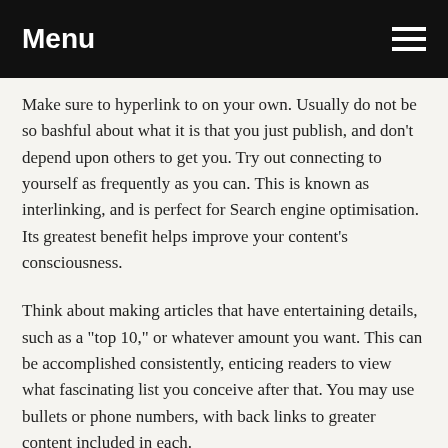Menu
Make sure to hyperlink to on your own. Usually do not be so bashful about what it is that you just publish, and don't depend upon others to get you. Try out connecting to yourself as frequently as you can. This is known as interlinking, and is perfect for Search engine optimisation. Its greatest benefit helps improve your content's consciousness.
Think about making articles that have entertaining details, such as a "top 10," or whatever amount you want. This can be accomplished consistently, enticing readers to view what fascinating list you conceive after that. You may use bullets or phone numbers, with back links to greater content included in each.
With all of which you now recognize about running a blog and exactly how it may help you, you ought to will have a technique under consideration for the way